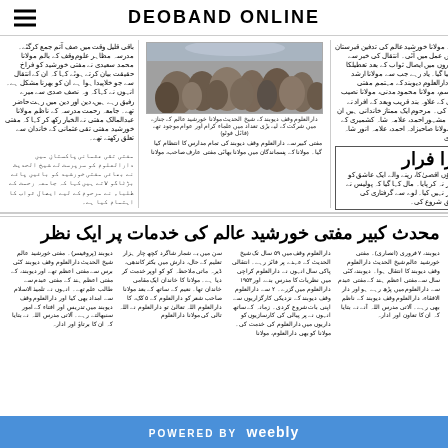DEOBAND ONLINE
[Figure (photo): Crowd of people at a gathering, Urdu caption below]
Urdu news article text (right-to-left) about Mufti Khurshid Alam and Darul Uloom
Urdu news article text (right-to-left) - center column
Urdu news article text - right column about Karachi
وڑا فرار
Urdu text about visa fraud/escape story
محدث کبیر مفتی خورشید عالم کی خدمات پر ایک نظر
Urdu body text columns about Muhaddith Kabir Mufti Khurshid Alam's services
POWERED BY weebly